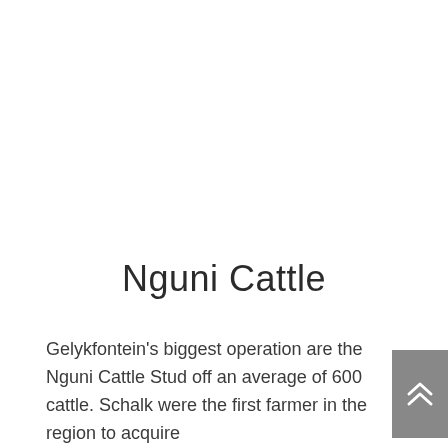Nguni Cattle
Gelykfontein's biggest operation are the Nguni Cattle Stud off an average of 600 cattle. Schalk were the first farmer in the region to acquire